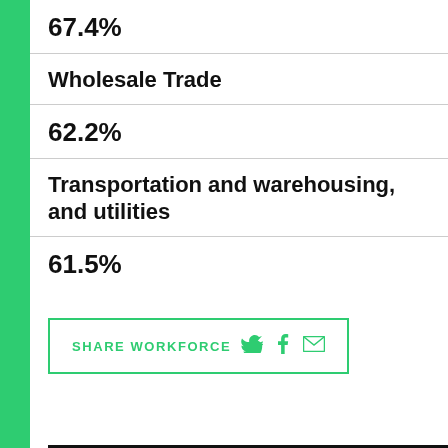67.4%
Wholesale Trade
62.2%
Transportation and warehousing, and utilities
61.5%
SHARE WORKFORCE